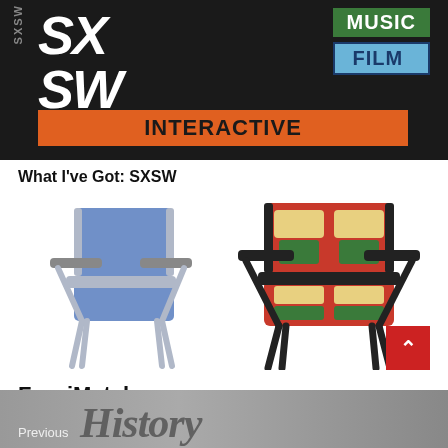[Figure (photo): SXSW logo with Music, Film, and Interactive badges on dark background]
What I've Got: SXSW
[Figure (photo): Two chairs side by side: a plain blue office chair on the left and a colorful patterned armchair on the right]
FurniMatch
[Figure (photo): Partial view of a 'History' text banner in gray tones with 'Previous' label]